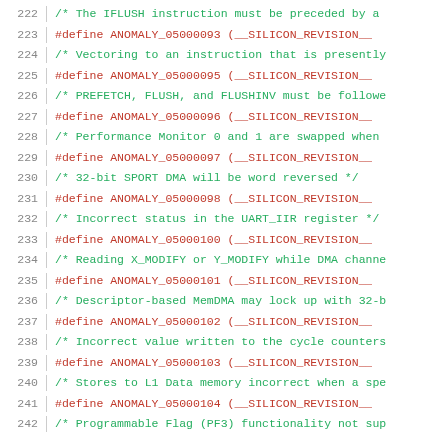222  /* The IFLUSH instruction must be preceded by a
223  #define ANOMALY_05000093 (__SILICON_REVISION__
224  /* Vectoring to an instruction that is presently
225  #define ANOMALY_05000095 (__SILICON_REVISION__
226  /* PREFETCH, FLUSH, and FLUSHINV must be followe
227  #define ANOMALY_05000096 (__SILICON_REVISION__
228  /* Performance Monitor 0 and 1 are swapped when
229  #define ANOMALY_05000097 (__SILICON_REVISION__
230  /* 32-bit SPORT DMA will be word reversed */
231  #define ANOMALY_05000098 (__SILICON_REVISION__
232  /* Incorrect status in the UART_IIR register */
233  #define ANOMALY_05000100 (__SILICON_REVISION__
234  /* Reading X_MODIFY or Y_MODIFY while DMA channe
235  #define ANOMALY_05000101 (__SILICON_REVISION__
236  /* Descriptor-based MemDMA may lock up with 32-b
237  #define ANOMALY_05000102 (__SILICON_REVISION__
238  /* Incorrect value written to the cycle counters
239  #define ANOMALY_05000103 (__SILICON_REVISION__
240  /* Stores to L1 Data memory incorrect when a spe
241  #define ANOMALY_05000104 (__SILICON_REVISION__
242  /* Programmable Flag (PF3) functionality not sup